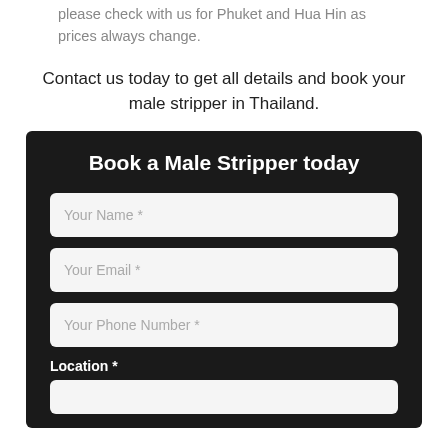please check with us for Phuket and Hua Hin as prices always change.
Contact us today to get all details and book your male stripper in Thailand.
Book a Male Stripper today
Your Name *
Your Email *
Your Phone Number *
Location *